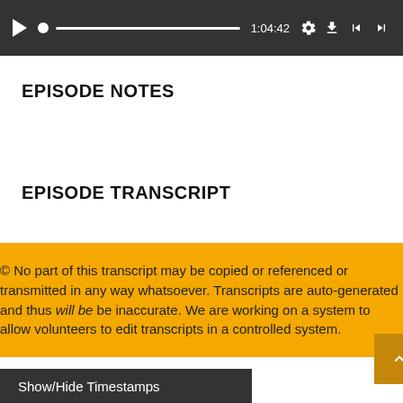[Figure (screenshot): Audio player bar with play button, progress slider showing 1:04:42 timestamp, gear/settings icon, download icon, rewind and fast-forward buttons on dark background]
EPISODE NOTES
EPISODE TRANSCRIPT
© No part of this transcript may be copied or referenced or transmitted in any way whatsoever. Transcripts are auto-generated and thus will be be inaccurate. We are working on a system to allow volunteers to edit transcripts in a controlled system.
Show/Hide Timestamps